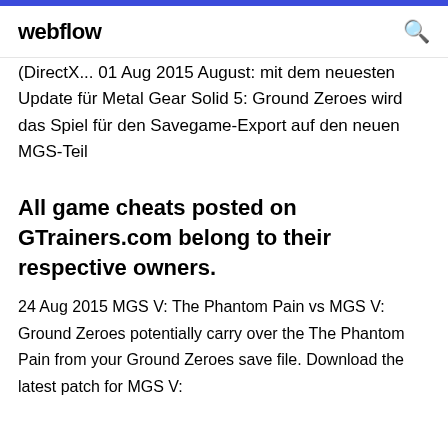webflow
(DirectX... 01 Aug 2015 August: mit dem neuesten Update für Metal Gear Solid 5: Ground Zeroes wird das Spiel für den Savegame-Export auf den neuen MGS-Teil
All game cheats posted on GTrainers.com belong to their respective owners.
24 Aug 2015 MGS V: The Phantom Pain vs MGS V: Ground Zeroes potentially carry over the The Phantom Pain from your Ground Zeroes save file. Download the latest patch for MGS V: